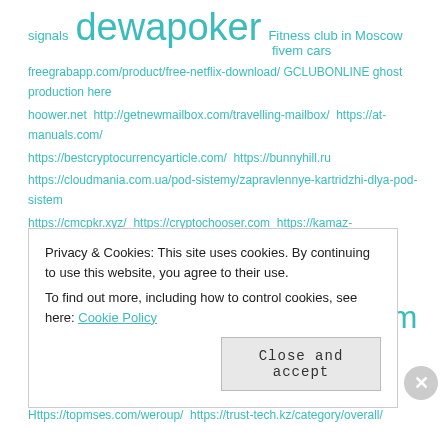signals dewapoker Fitness club in Moscow fivem cars
freegrabapp.com/product/free-netflix-download/ GCLUBONLINE ghost production here
hoower.net http://getnewmailbox.com/travelling-mailbox/ https://at-manuals.com/
https://bestcryptocurrencyarticle.com/ https://bunnyhill.ru
https://cloudmania.com.ua/pod-sistemy/zapravlennye-kartridzhi-dlya-pod-sistem
https://cmcpkr.xyz/ https://cryptochooser.com https://kamaz-service.kz/katalogList_10_0_tg_status_ASC_0_0_Autocesterny.html https://kamaz-service.kz/katalogList_10_0_tg_status_ASC_0_0_autokrany.html
https://moneyaccounts.com
https://nsbroker.com/investment-strategies/how-to-trade-using-a-currency-strength-meter https://toastedteam.com/plants-vs-zombies-rasteniya-protiv-zombi/
Https://topmses.com/weroup/ https://trust-tech.kz/category/overall/
Privacy & Cookies: This site uses cookies. By continuing to use this website, you agree to their use. To find out more, including how to control cookies, see here: Cookie Policy
Close and accept